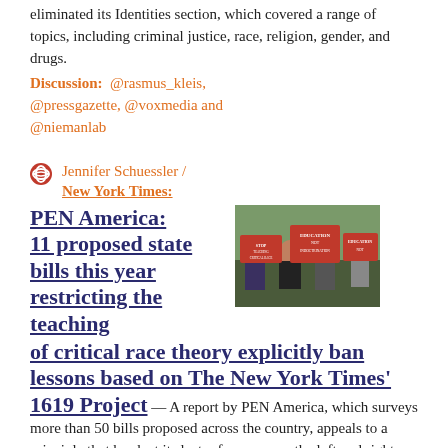eliminated its Identities section, which covered a range of topics, including criminal justice, race, religion, gender, and drugs.
Discussion: @rasmus_kleis, @pressgazette, @voxmedia and @niemanlab
Jennifer Schuessler / New York Times:
[Figure (photo): People holding red protest signs including 'STOP TEACHING CRITICAL RACE THEORY' and 'EDUCATION NOT INDOCTRINATION' at a rally.]
PEN America: 11 proposed state bills this year restricting the teaching of critical race theory explicitly ban lessons based on The New York Times' 1619 Project
— A report by PEN America, which surveys more than 50 bills proposed across the country, appeals to a principle that has lost its luster for many on the left and right.
Discussion: PEN America, Mediaite, @summerelopez, @naacp_ldf,